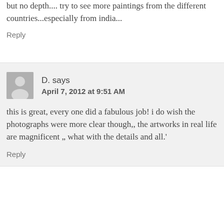but no depth.... try to see more paintings from the different countries...especially from india...
Reply
[Figure (illustration): Default user avatar — grey silhouette of a person on grey background]
D. says
April 7, 2012 at 9:51 AM
this is great, every one did a fabulous job! i do wish the photographs were more clear though,, the artworks in real life are magnificent „ what with the details and all.'
Reply